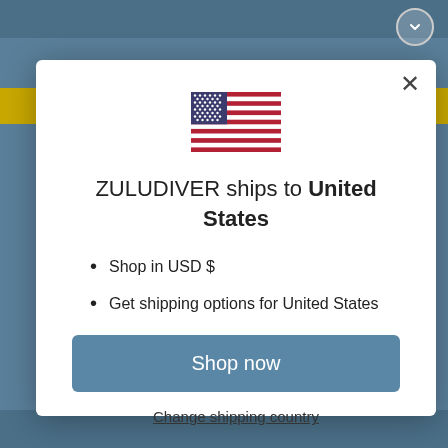[Figure (screenshot): Website background with steel blue header bar and a modal dialog overlay]
[Figure (illustration): United States flag emoji/icon — rectangular flag with blue canton with white stars and red and white stripes]
ZULUDIVER ships to United States
Shop in USD $
Get shipping options for United States
Shop now
Change shipping country